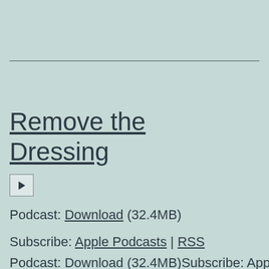Remove the Dressing
Podcast: Download (32.4MB)
Subscribe: Apple Podcasts | RSS
Podcast: Download (32.4MB)Subscribe: Apple